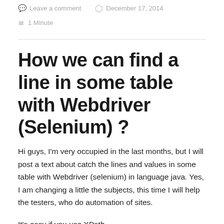Leave a comment   December 17, 2014   1 Minute
How we can find a line in some table with Webdriver (Selenium) ?
Hi guys, I'm very occupied in the last months, but I will post a text about catch the lines and values in some table with Webdriver (selenium) in language java. Yes, I am changing a little the subjects, this time I will help the testers, who do automation of sites.
It's easy if you use XPath.